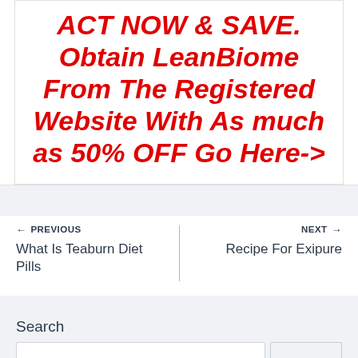ACT NOW & SAVE. Obtain LeanBiome From The Registered Website With As much as 50% OFF Go Here->
← PREVIOUS
What Is Teaburn Diet Pills
NEXT →
Recipe For Exipure
Search